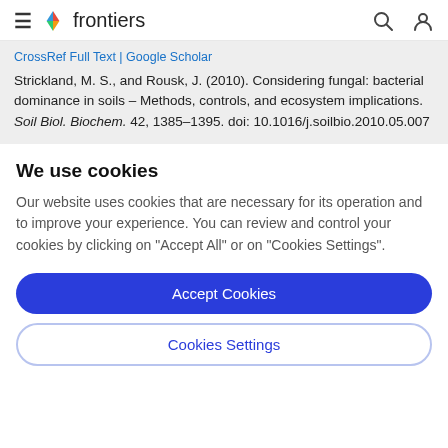frontiers
Crossref Full Text | Google Scholar
Strickland, M. S., and Rousk, J. (2010). Considering fungal: bacterial dominance in soils – Methods, controls, and ecosystem implications. Soil Biol. Biochem. 42, 1385–1395. doi: 10.1016/j.soilbio.2010.05.007
We use cookies
Our website uses cookies that are necessary for its operation and to improve your experience. You can review and control your cookies by clicking on "Accept All" or on "Cookies Settings".
Accept Cookies
Cookies Settings